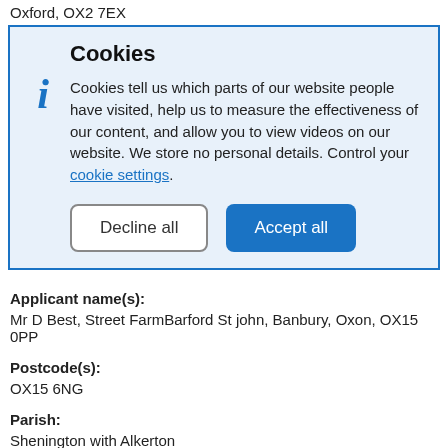Oxford, OX2 7EX
Cookies
Cookies tell us which parts of our website people have visited, help us to measure the effectiveness of our content, and allow you to view videos on our website. We store no personal details. Control your cookie settings.
Applicant name(s):
Mr D Best, Street FarmBarford St john, Banbury, Oxon, OX15 0PP
Postcode(s):
OX15 6NG
Parish:
Shenington with Alkerton